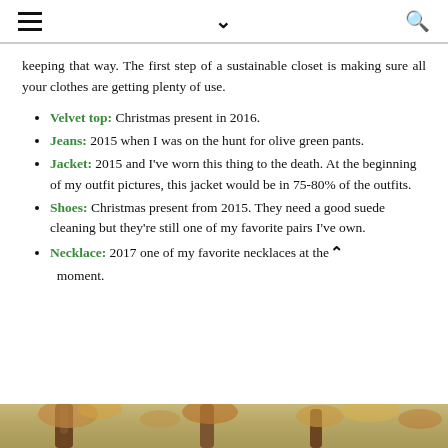≡  ∨  🔍
keeping that way. The first step of a sustainable closet is making sure all your clothes are getting plenty of use.
Velvet top: Christmas present in 2016.
Jeans: 2015 when I was on the hunt for olive green pants.
Jacket: 2015 and I've worn this thing to the death. At the beginning of my outfit pictures, this jacket would be in 75-80% of the outfits.
Shoes: Christmas present from 2015. They need a good suede cleaning but they're still one of my favorite pairs I've own.
Necklace: 2017 one of my favorite necklaces at the moment.
[Figure (photo): Outdoor autumn scene with trees and fall foliage, bottom strip of image visible]